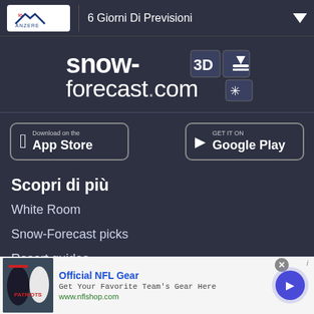6 Giorni Di Previsioni
[Figure (logo): snow-forecast.com logo in white text on dark background]
[Figure (screenshot): Download on the App Store button]
[Figure (screenshot): GET IT ON Google Play button]
Scopri di più
White Room
Snow-Forecast picks
Resort guides
Negozio Snow
Snow round up
[Figure (photo): Advertisement banner: Official NFL Gear - Get Your Favorite Team's Gear Here - www.nflshop.com, with NFL merchandise photo and Google Play style arrow button]